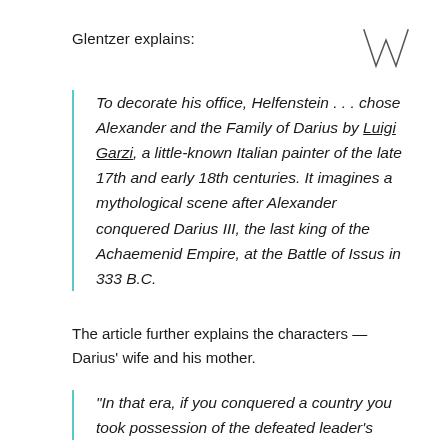Glentzer explains:
[Figure (logo): Stylized W letter mark in thin strokes, top right corner]
To decorate his office, Helfenstein . . . chose Alexander and the Family of Darius by Luigi Garzi, a little-known Italian painter of the late 17th and early 18th centuries. It imagines a mythological scene after Alexander conquered Darius III, the last king of the Achaemenid Empire, at the Battle of Issus in 333 B.C.
The article further explains the characters — Darius' wife and his mother.
“In that era, if you conquered a country you took possession of the defeated leader’s